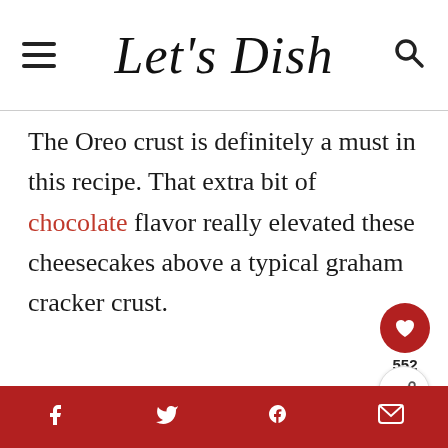Let's Dish
The Oreo crust is definitely a must in this recipe. That extra bit of chocolate flavor really elevated these cheesecakes above a typical graham cracker crust.